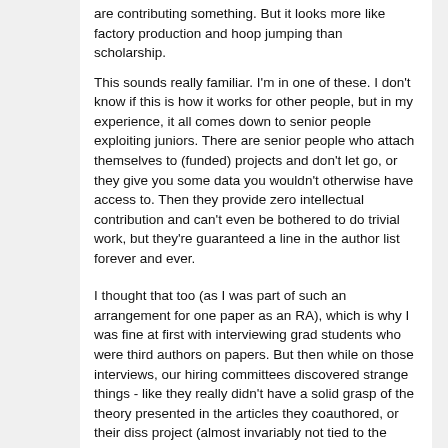are contributing something. But it looks more like factory production and hoop jumping than scholarship.
This sounds really familiar. I'm in one of these. I don't know if this is how it works for other people, but in my experience, it all comes down to senior people exploiting juniors. There are senior people who attach themselves to (funded) projects and don't let go, or they give you some data you wouldn't otherwise have access to. Then they provide zero intellectual contribution and can't even be bothered to do trivial work, but they're guaranteed a line in the author list forever and ever.
I thought that too (as I was part of such an arrangement for one paper as an RA), which is why I was fine at first with interviewing grad students who were third authors on papers. But then while on those interviews, our hiring committees discovered strange things - like they really didn't have a solid grasp of the theory presented in the articles they coauthored, or their diss project (almost invariably not tied to the articles they coauthored) were uninspiring at best (and entirely derivative at worst). Further discussion sometimes revealed other big concerns, such as poor modeling choices or clear problems in understanding research design.
In short, quite the opposite was happening from your (and my) previous experience: the advisors and professors of these students were "carrying" them on papers only to check boxes for employability. What's more, watching their trajectories after we didn't hire them, they kept carrying them for years, even as far as midpoint and tenure review.
These students weren't developing into individual thinkers; they just